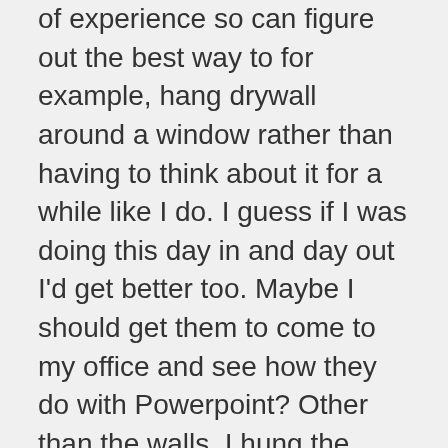of experience so can figure out the best way to for example, hang drywall around a window rather than having to think about it for a while like I do. I guess if I was doing this day in and day out I'd get better too. Maybe I should get them to come to my office and see how they do with Powerpoint? Other than the walls, I hung the wallboard on the ceiling in the bathroom which was kind of challenging as there is not much room to move around in there, so I had to bring the pieces in to test the fit, then back out to trim, then back in to test... You get the idea. Before I could finish the ceiling in